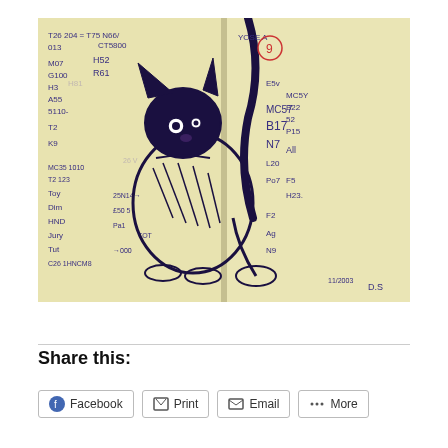[Figure (illustration): A notebook spread with a hand-drawn ink sketch of a cat (appears to be a Sphynx or Devon Rex cat) with handwritten notes and numbers surrounding it. The notebook pages are yellowish. Various alphanumeric codes and notations are written in blue ink around the cat drawing.]
Share this:
Facebook
Print
Email
More